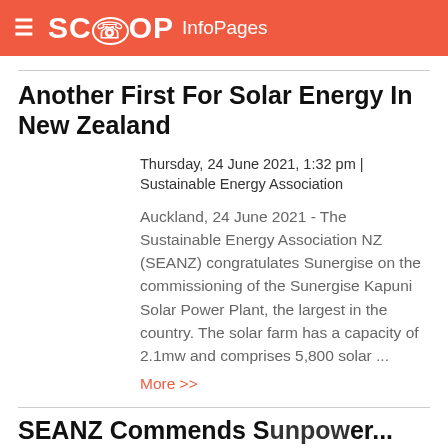SCOOP InfoPages
Another First For Solar Energy In New Zealand
Thursday, 24 June 2021, 1:32 pm | Sustainable Energy Association
Auckland, 24 June 2021 - The Sustainable Energy Association NZ (SEANZ) congratulates Sunergise on the commissioning of the Sunergise Kapuni Solar Power Plant, the largest in the country. The solar farm has a capacity of 2.1mw and comprises 5,800 solar ...
More >>
SEANZ Commends Sunergise...